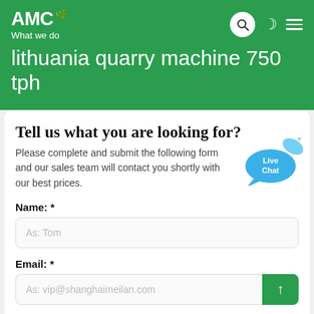AMC - What we do
lithuania quarry machine 750 tph
Tell us what you are looking for?
Please complete and submit the following form and our sales team will contact you shortly with our best prices.
Name: *
As: Tom
Email: *
As: vip@shanghaimeilan.com
Phone: *
With Country Code